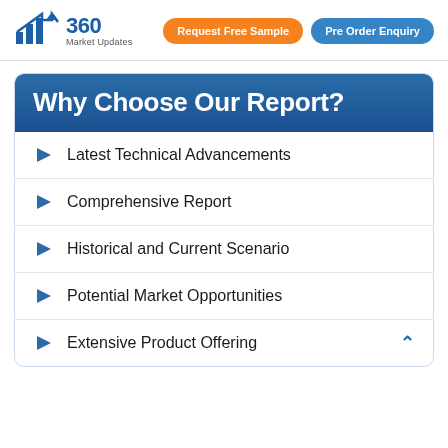360 Market Updates | Request Free Sample | Pre Order Enquiry
Why Choose Our Report?
Latest Technical Advancements
Comprehensive Report
Historical and Current Scenario
Potential Market Opportunities
Extensive Product Offering